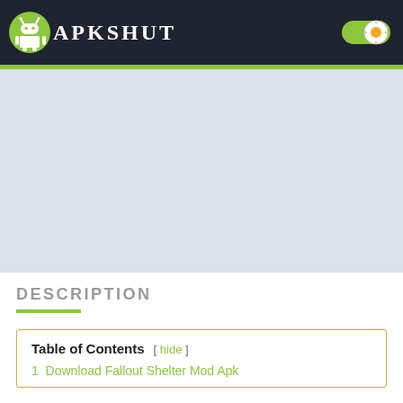APKSHUT
[Figure (other): Large light gray advertisement or banner placeholder area]
DESCRIPTION
| Table of Contents |
| --- |
| 1  Download Fallout Shelter Mod Apk |